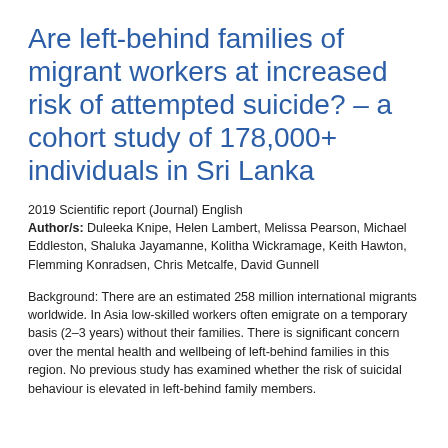Are left-behind families of migrant workers at increased risk of attempted suicide? – a cohort study of 178,000+ individuals in Sri Lanka
2019 Scientific report (Journal) English
Author/s: Duleeka Knipe, Helen Lambert, Melissa Pearson, Michael Eddleston, Shaluka Jayamanne, Kolitha Wickramage, Keith Hawton, Flemming Konradsen, Chris Metcalfe, David Gunnell
Background: There are an estimated 258 million international migrants worldwide. In Asia low-skilled workers often emigrate on a temporary basis (2–3 years) without their families. There is significant concern over the mental health and wellbeing of left-behind families in this region. No previous study has examined whether the risk of suicidal behaviour is elevated in left-behind family members.